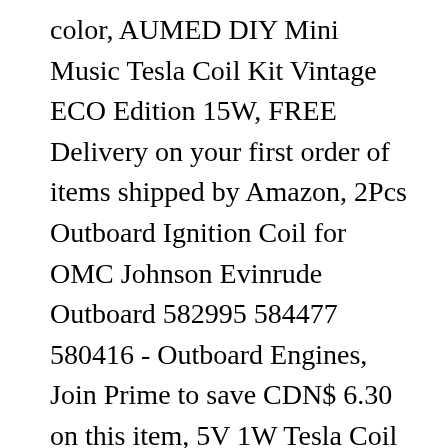color, AUMED DIY Mini Music Tesla Coil Kit Vintage ECO Edition 15W, FREE Delivery on your first order of items shipped by Amazon, 2Pcs Outboard Ignition Coil for OMC Johnson Evinrude Outboard 582995 584477 580416 - Outboard Engines, Join Prime to save CDN$ 6.30 on this item, 5V 1W Tesla Coil Super Mini Self-Excitation Tesla Coil for Wireless Transmission Experiments Test DIY Electronic Practice Kit High Frequency AC Power, Electronic Learning Education Toys, Rhode Island Novelty 2.5" Coil Bracelet Keychains Assorted Colors 12-pack, ¤2020 Ending Promotion¤ Tesla Coil Plasma Speaker, Durable Tesla Coil, Anti-Aging ABS Superior Performance Mini for Electronic DIY